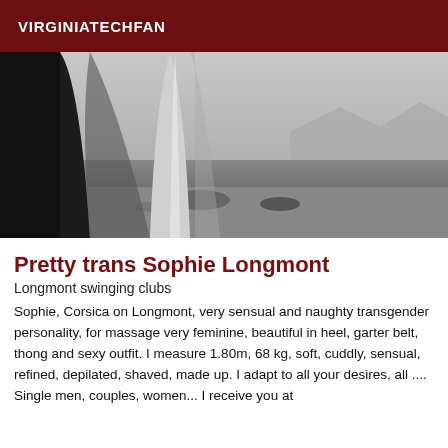VIRGINIATECHFAN
[Figure (photo): Black and white photo of a person's bare legs standing on a rocky beach with a body of water and mountains in the background.]
Pretty trans Sophie Longmont
Longmont swinging clubs
Sophie, Corsica on Longmont, very sensual and naughty transgender personality, for massage very feminine, beautiful in heel, garter belt, thong and sexy outfit. I measure 1.80m, 68 kg, soft, cuddly, sensual, refined, depilated, shaved, made up. I adapt to all your desires, all .... Single men, couples, women... I receive you at